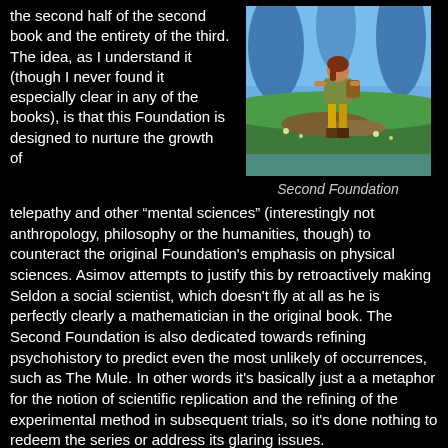the second half of the second book and the entirety of the third. The idea, as I understand it (though I never found it especially clear in any of the books), is that this Foundation is designed to nurture the growth of
[Figure (illustration): Book cover of Second Foundation showing a young woman walking across a landscape with large alien trees in the background, wearing a short outfit with boots and carrying a bag.]
Second Foundation
telepathy and other “mental sciences” (interestingly not anthropology, philosophy or the humanities, though) to counteract the original Foundation's emphasis on physical sciences. Asimov attempts to justify this by retroactively making Seldon a social scientist, which doesn't fly at all as he is perfectly clearly a mathematician in the original book. The Second Foundation is also dedicated towards refining psychohistory to predict even the most unlikely of occurrences, such as The Mule. In other words it's basically just a a metaphor for the notion of scientific replication and the refining of the experimental method in subsequent trials, so it's done nothing to redeem the series or address its glaring issues.